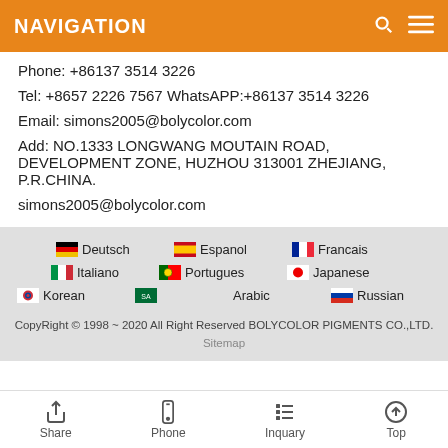NAVIGATION
Phone: +86137 3514 3226
Tel: +8657 2226 7567 WhatsAPP:+86137 3514 3226
Email: simons2005@bolycolor.com
Add: NO.1333 LONGWANG MOUTAIN ROAD, DEVELOPMENT ZONE, HUZHOU 313001 ZHEJIANG, P.R.CHINA.
simons2005@bolycolor.com
Deutsch  Espanol  Francais  Italiano  Portugues  Japanese  Korean  Arabic  Russian
CopyRight © 1998 ~ 2020 All Right Reserved BOLYCOLOR PIGMENTS CO.,LTD. Sitemap
Share  Phone  Inquary  Top